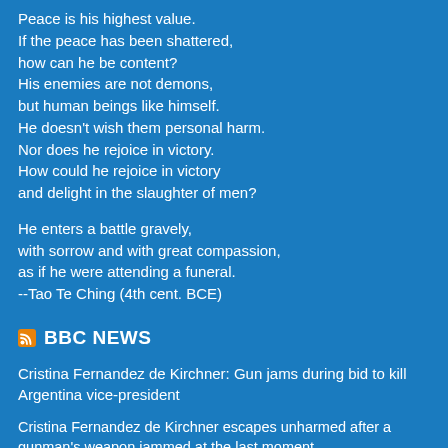Peace is his highest value.
If the peace has been shattered,
how can he be content?
His enemies are not demons,
but human beings like himself.
He doesn't wish them personal harm.
Nor does he rejoice in victory.
How could he rejoice in victory
and delight in the slaughter of men?

He enters a battle gravely,
with sorrow and with great compassion,
as if he were attending a funeral.
--Tao Te Ching (4th cent. BCE)
BBC NEWS
Cristina Fernandez de Kirchner: Gun jams during bid to kill Argentina vice-president
Cristina Fernandez de Kirchner escapes unharmed after a gunman's weapon jammed at the last moment.